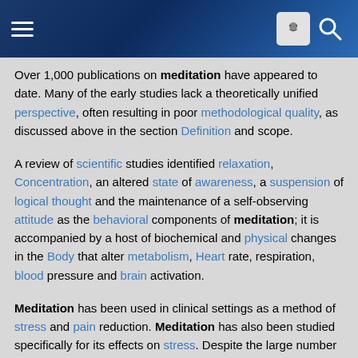[Navigation bar with hamburger menu, face icon, and search icon]
Over 1,000 publications on meditation have appeared to date. Many of the early studies lack a theoretically unified perspective, often resulting in poor methodological quality, as discussed above in the section Definition and scope.
A review of scientific studies identified relaxation, Concentration, an altered state of awareness, a suspension of logical thought and the maintenance of a self-observing attitude as the behavioral components of meditation; it is accompanied by a host of biochemical and physical changes in the Body that alter metabolism, Heart rate, respiration, blood pressure and brain activation.
Meditation has been used in clinical settings as a method of stress and pain reduction. Meditation has also been studied specifically for its effects on stress. Despite the large number of scientific publications on meditation, its measurable effect on brain activity is still not well understood.